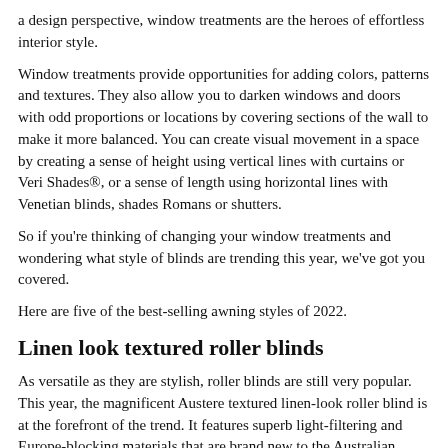a design perspective, window treatments are the heroes of effortless interior style.
Window treatments provide opportunities for adding colors, patterns and textures. They also allow you to darken windows and doors with odd proportions or locations by covering sections of the wall to make it more balanced. You can create visual movement in a space by creating a sense of height using vertical lines with curtains or Veri Shades®, or a sense of length using horizontal lines with Venetian blinds, shades Romans or shutters.
So if you're thinking of changing your window treatments and wondering what style of blinds are trending this year, we've got you covered.
Here are five of the best-selling awning styles of 2022.
Linen look textured roller blinds
As versatile as they are stylish, roller blinds are still very popular. This year, the magnificent Austere textured linen-look roller blind is at the forefront of the trend. It features superb light-filtering and Europe-blocking materials that are brand new to the Australian market, and a huge range of colors expertly selected to align with the latest interior trends and beloved classics.